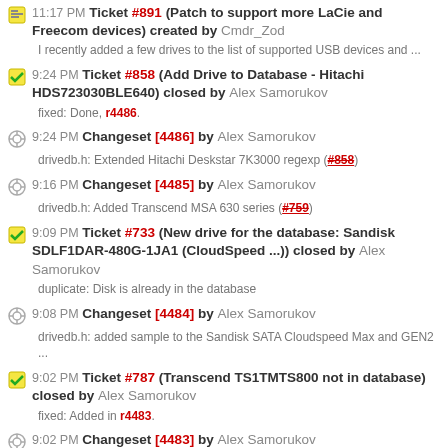11:17 PM Ticket #891 (Patch to support more LaCie and Freecom devices) created by Cmdr_Zod
I recently added a few drives to the list of supported USB devices and ...
9:24 PM Ticket #858 (Add Drive to Database - Hitachi HDS723030BLE640) closed by Alex Samorukov
fixed: Done, r4486.
9:24 PM Changeset [4486] by Alex Samorukov
drivedb.h: Extended Hitachi Deskstar 7K3000 regexp (#858)
9:16 PM Changeset [4485] by Alex Samorukov
drivedb.h: Added Transcend MSA 630 series (#759)
9:09 PM Ticket #733 (New drive for the database: Sandisk SDLF1DAR-480G-1JA1 (CloudSpeed ...)) closed by Alex Samorukov
duplicate: Disk is already in the database
9:08 PM Changeset [4484] by Alex Samorukov
drivedb.h: added sample to the Sandisk SATA Cloudspeed Max and GEN2 ...
9:02 PM Ticket #787 (Transcend TS1TMTS800 not in database) closed by Alex Samorukov
fixed: Added in r4483.
9:02 PM Changeset [4483] by Alex Samorukov
drivedb.h: Added Transcend MTS800 drives (#787)
8:54 PM Changeset [4482] by Alex Samorukov
drivedb.h: Added 0x152d:0x0578 Jmicron USB->SATA (#841)